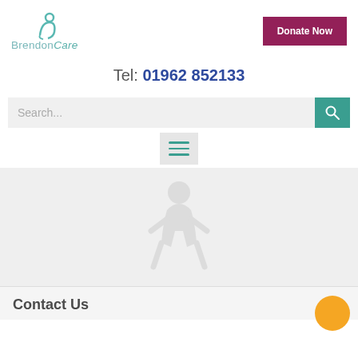[Figure (logo): BrendonCare logo with teal swirl icon above the text 'BrendonCare']
[Figure (other): Donate Now button in dark magenta/maroon color]
Tel: 01962 852133
[Figure (other): Search bar with teal search button]
[Figure (other): Hamburger menu icon with three teal lines on a light grey background]
[Figure (other): Light grey hero section with faint figure/person illustration watermark]
Contact Us